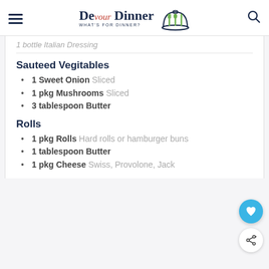Devour Dinner – WHAT'S FOR DINNER?
1 bottle italian dressing
Sauteed Vegitables
1 Sweet Onion Sliced
1 pkg Mushrooms Sliced
3 tablespoon Butter
Rolls
1 pkg Rolls Hard rolls or hamburger buns
1 tablespoon Butter
1 pkg Cheese Swiss, Provolone, Jack